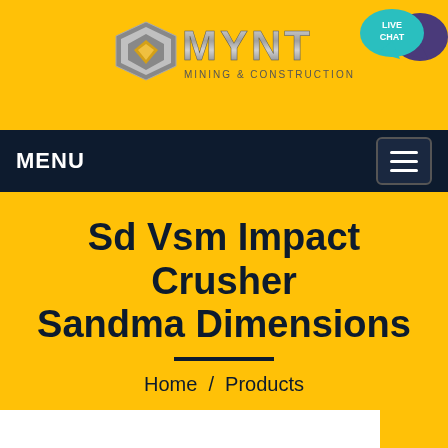[Figure (logo): MYNT Mining & Construction logo with geometric diamond shape and metallic text]
MENU
Sd Vsm Impact Crusher Sandma Dimensions
Home  /  Products